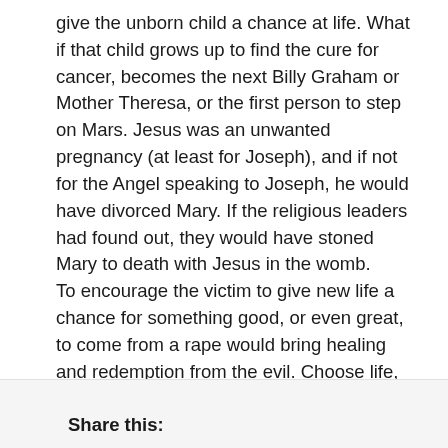give the unborn child a chance at life. What if that child grows up to find the cure for cancer, becomes the next Billy Graham or Mother Theresa, or the first person to step on Mars. Jesus was an unwanted pregnancy (at least for Joseph), and if not for the Angel speaking to Joseph, he would have divorced Mary. If the religious leaders had found out, they would have stoned Mary to death with Jesus in the womb.
To encourage the victim to give new life a chance for something good, or even great, to come from a rape would bring healing and redemption from the evil. Choose life, not the taking of a life.
If a death is required to bring healing to a victim of rape, it should not be the death of the innocent child, but that of the guilty rapist.
Share this: